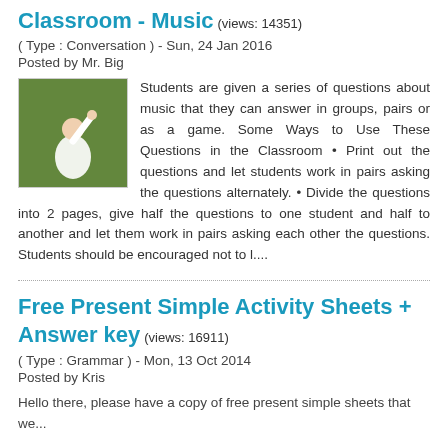Classroom - Music (views: 14351)
( Type : Conversation ) - Sun, 24 Jan 2016
Posted by Mr. Big
[Figure (photo): Thumbnail image showing a person raising their hand against a green background]
Students are given a series of questions about music that they can answer in groups, pairs or as a game. Some Ways to Use These Questions in the Classroom • Print out the questions and let students work in pairs asking the questions alternately. • Divide the questions into 2 pages, give half the questions to one student and half to another and let them work in pairs asking each other the questions. Students should be encouraged not to l....
Free Present Simple Activity Sheets + Answer key (views: 16911)
( Type : Grammar ) - Mon, 13 Oct 2014
Posted by Kris
Hello there, please have a copy of free present simple sheets that we...